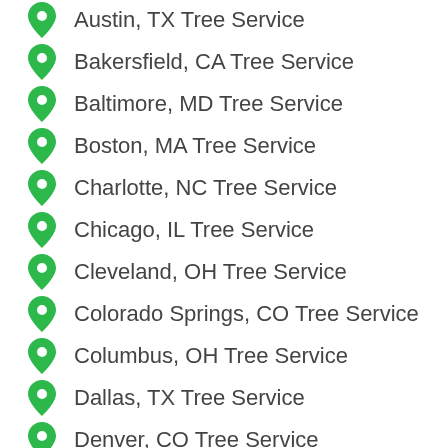Austin, TX Tree Service
Bakersfield, CA Tree Service
Baltimore, MD Tree Service
Boston, MA Tree Service
Charlotte, NC Tree Service
Chicago, IL Tree Service
Cleveland, OH Tree Service
Colorado Springs, CO Tree Service
Columbus, OH Tree Service
Dallas, TX Tree Service
Denver, CO Tree Service